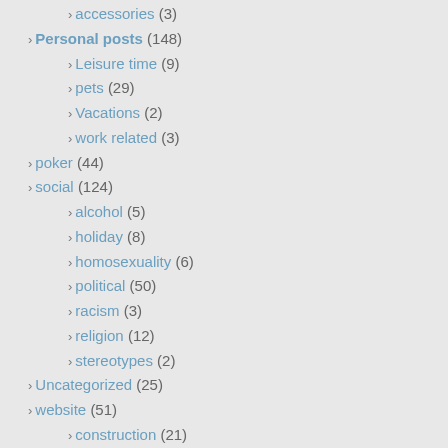› accessories (3)
› Personal posts (148)
› Leisure time (9)
› pets (29)
› Vacations (2)
› work related (3)
› poker (44)
› social (124)
› alcohol (5)
› holiday (8)
› homosexuality (6)
› political (50)
› racism (3)
› religion (12)
› stereotypes (2)
› Uncategorized (25)
› website (51)
› construction (21)
› feedback (10)
› spam (2)
› writing (11)
› my writing (10)